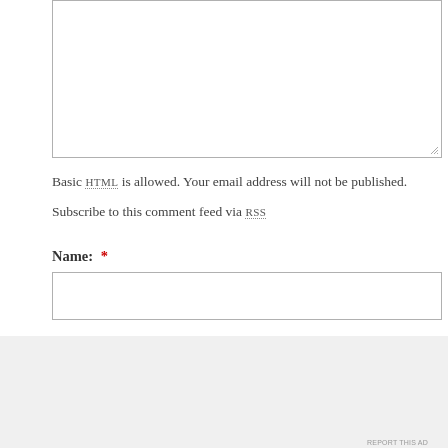[Figure (screenshot): A large empty textarea input box with a resize handle in the bottom-right corner.]
Basic HTML is allowed. Your email address will not be published.
Subscribe to this comment feed via RSS
Name: *
[Figure (screenshot): A text input field for entering a name.]
Advertisements
[Figure (screenshot): DuckDuckGo advertisement banner: 'Search, browse, and email with more privacy. All in One Free App' on an orange background with DuckDuckGo logo on dark background.]